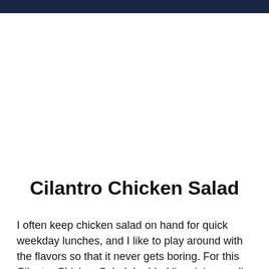Cilantro Chicken Salad
I often keep chicken salad on hand for quick weekday lunches, and I like to play around with the flavors so that it never gets boring. For this Cilantro Chicken Salad, I added lime juice, garlic powder, cumin, and